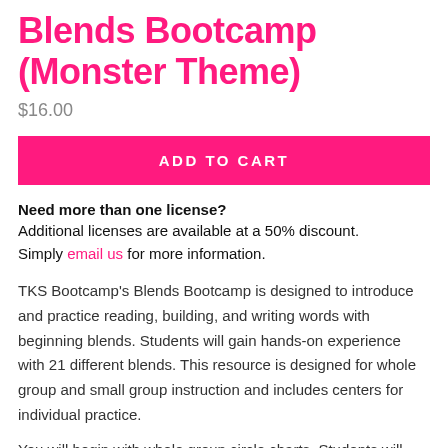Blends Bootcamp (Monster Theme)
$16.00
ADD TO CART
Need more than one license?
Additional licenses are available at a 50% discount. Simply email us for more information.
TKS Bootcamp's Blends Bootcamp is designed to introduce and practice reading, building, and writing words with beginning blends. Students will gain hands-on experience with 21 different blends. This resource is designed for whole group and small group instruction and includes centers for individual practice.
You will begin with whole group circle charts. Students will